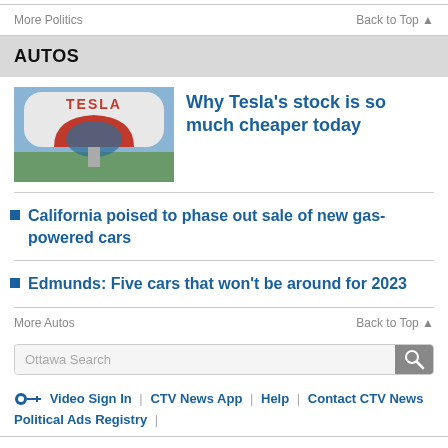More Politics | Back to Top ▲
AUTOS
[Figure (photo): Tesla supercharger station sign with red arch and white TESLA letters]
Why Tesla's stock is so much cheaper today
California poised to phase out sale of new gas-powered cars
Edmunds: Five cars that won't be around for 2023
More Autos | Back to Top ▲
Ottawa Search
Video Sign In | CTV News App | Help | Contact CTV News | Political Ads Registry |